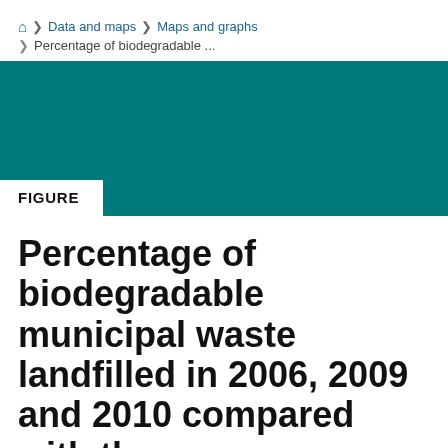🏠 > Data and maps > Maps and graphs > Percentage of biodegradable ...
[Figure (other): Teal/dark cyan banner with FIGURE label badge at bottom left]
Percentage of biodegradable municipal waste landfilled in 2006, 2009 and 2010 compared with the...